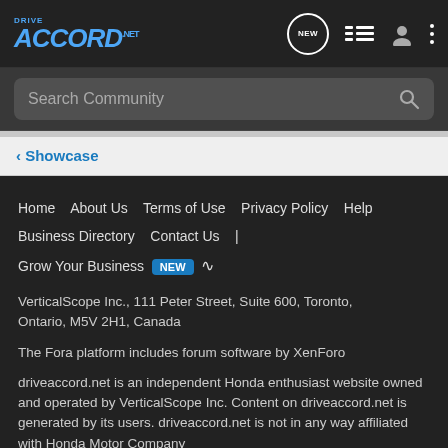[Figure (logo): DriveAccord.net logo — blue italic text on dark background]
Search Community
< Showcase
Home   About Us   Terms of Use   Privacy Policy   Help   Business Directory   Contact Us   |   Grow Your Business   NEW
VerticalScope Inc., 111 Peter Street, Suite 600, Toronto, Ontario, M5V 2H1, Canada
The Fora platform includes forum software by XenForo
driveaccord.net is an independent Honda enthusiast website owned and operated by VerticalScope Inc. Content on driveaccord.net is generated by its users. driveaccord.net is not in any way affiliated with Honda Motor Company